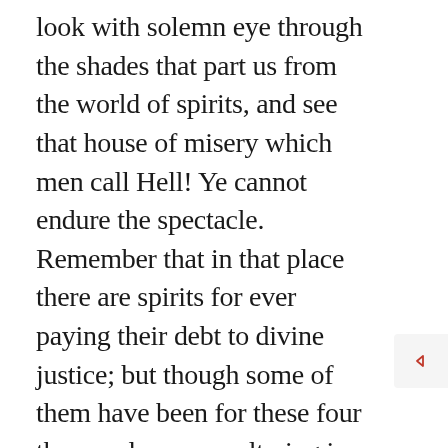look with solemn eye through the shades that part us from the world of spirits, and see that house of misery which men call Hell! Ye cannot endure the spectacle. Remember that in that place there are spirits for ever paying their debt to divine justice; but though some of them have been for these four thousand years sweltering in the flame, they are no nearer a discharge than when they began; and when ten thousand times ten thousand years shall have rolled away, they will no more have made satisfaction to God for their guilt